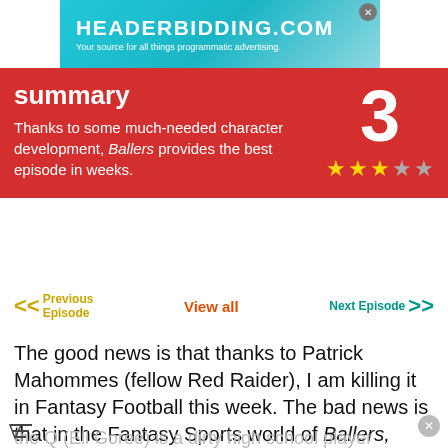[Figure (screenshot): Ad banner for HEADERBIDDING.COM with tagline 'Your source for all things programmatic advertising.' on a teal/cyan gradient background.]
summary
Thanks to some much-needed character development, Ballers provides the best episode in weeks.
3 (score) ★★★☆☆
Previous Episode   View all   Next Episode
The good news is that thanks to Patrick Mahommes (fellow Red Raider), I am killing it in Fantasy Football this week. The bad news is that in the Fantasy Sports world of Ballers,
the Q (Eli Goree) is a dirty high school player turned investor plot is still happening. But maybe, like Ricky (John David Washington), things are looking up.